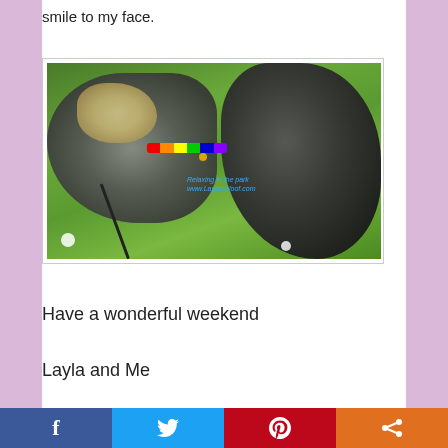smile to my face.
[Figure (photo): Two dogs lying in green grass. One dog has grey and blonde fur with a rainbow harness, the other is black and fluffy. Watermark text reads 'Relaxing in the park www.LaylasWoof.com']
Have a wonderful weekend
Layla and Me